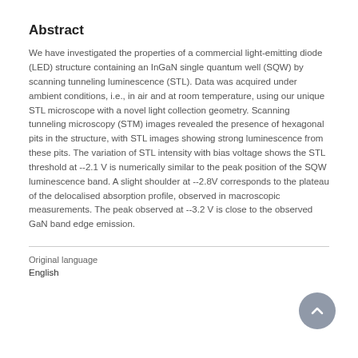Abstract
We have investigated the properties of a commercial light-emitting diode (LED) structure containing an InGaN single quantum well (SQW) by scanning tunneling luminescence (STL). Data was acquired under ambient conditions, i.e., in air and at room temperature, using our unique STL microscope with a novel light collection geometry. Scanning tunneling microscopy (STM) images revealed the presence of hexagonal pits in the structure, with STL images showing strong luminescence from these pits. The variation of STL intensity with bias voltage shows the STL threshold at --2.1 V is numerically similar to the peak position of the SQW luminescence band. A slight shoulder at --2.8V corresponds to the plateau of the delocalised absorption profile, observed in macroscopic measurements. The peak observed at --3.2 V is close to the observed GaN band edge emission.
Original language
English